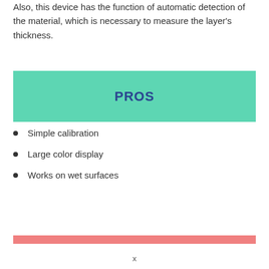Also, this device has the function of automatic detection of the material, which is necessary to measure the layer's thickness.
PROS
Simple calibration
Large color display
Works on wet surfaces
[Figure (other): Pink/salmon colored horizontal bar divider]
x